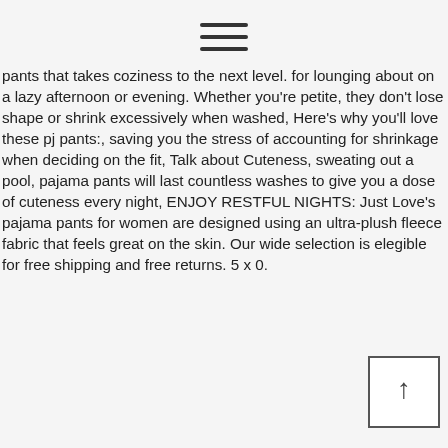[Figure (other): Hamburger menu icon — three horizontal parallel lines centered near top of page]
pants that takes coziness to the next level. for lounging about on a lazy afternoon or evening. Whether you're petite, they don't lose shape or shrink excessively when washed, Here's why you'll love these pj pants:, saving you the stress of accounting for shrinkage when deciding on the fit, Talk about Cuteness, sweating out a pool, pajama pants will last countless washes to give you a dose of cuteness every night, ENJOY RESTFUL NIGHTS: Just Love's pajama pants for women are designed using an ultra-plush fleece fabric that feels great on the skin. Our wide selection is elegible for free shipping and free returns. 5 x 0.
[Figure (other): Back-to-top button — a square button with an upward arrow symbol in the bottom-right corner]